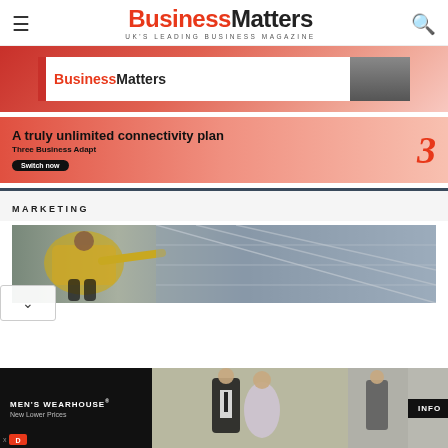Business Matters — UK'S LEADING BUSINESS MAGAZINE
[Figure (photo): Business Matters magazine banner advertisement with red L-shaped logo bar and BusinessMatters branding, person in suit on right side]
[Figure (photo): Three Business Adapt advertisement — 'A truly unlimited connectivity plan', Three Business Adapt, Switch now button, Three brand logo in red on right]
MARKETING
[Figure (photo): Article hero image showing athlete on running track pointing, with solar panels in background]
[Figure (photo): Men's Wearhouse advertisement — New Lower Prices, couple in formalwear, man in grey suit, INFO button]